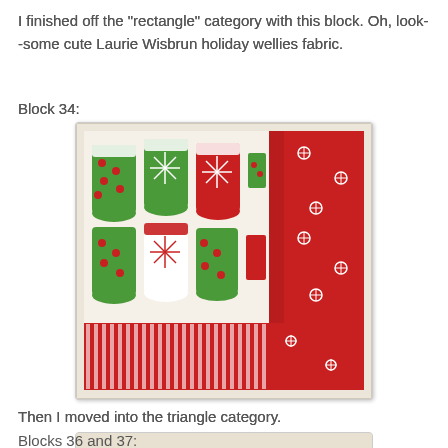I finished off the "rectangle" category with this block. Oh, look--some cute Laurie Wisbrun holiday wellies fabric.
Block 34:
[Figure (photo): A quilt block featuring holiday wellington boots fabric in red and green patterns with polka dots, snowflakes, and stripes, alongside a red floral fabric on the right side.]
Then I moved into the triangle category.
Blocks 36 and 37:
[Figure (photo): Partial view of another quilt block at the bottom of the page.]